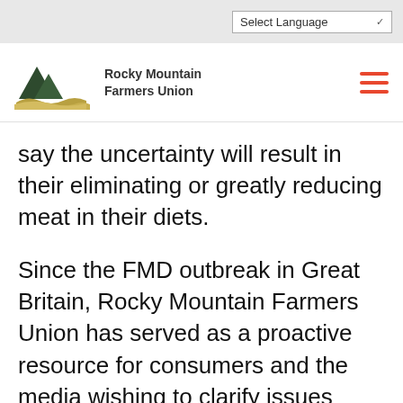Select Language
[Figure (logo): Rocky Mountain Farmers Union logo with mountain and wave graphic]
say the uncertainty will result in their eliminating or greatly reducing meat in their diets.
Since the FMD outbreak in Great Britain, Rocky Mountain Farmers Union has served as a proactive resource for consumers and the media wishing to clarify issues related to FMD and BSE.